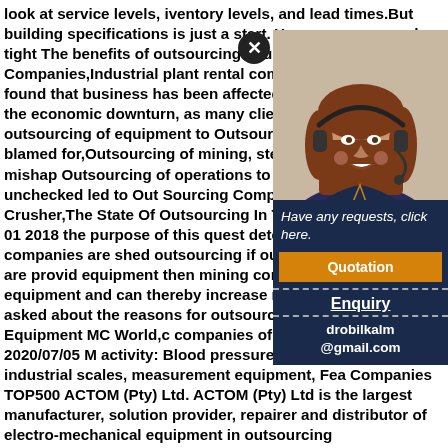look at service levels, iventory levels, and lead times.But building specifications is just a start. Your company needs tight The benefits of outsourcing equipment Mining Companies,Industrial plant rental company Rand-Air has found that business has been affected to a lesser extent by the economic downturn, as many clients are turning to the outsourcing of equipment to Outsourcing of mi safety steps blamed for,Outsourcing of mining, steps blamed for Godda mishap Outsourcing of operations to private companies and unchecked led to Out Sourcing Companies Of Mining Equ Crusher,The State Of Outsourcing In The Cana Industry. Dec 01 2018 the purpose of this quest determine whether mining companies are shed outsourcing if outsourcing suppliers are provid equipment then mining companies do not need equipment and can thereby increase return on question asked about the reasons for outsourci Companies Of Mining Equipment MC World,c companies of mining equipment. 2020/07/05 M activity: Blood pressure recording units, medic industrial scales, measurement equipment, Fea Companies TOP500 ACTOM (Pty) Ltd. ACTOM (Pty) Ltd is the largest manufacturer, solution provider, repairer and distributor of electro-mechanical equipment in outsourcing
[Figure (photo): Woman with headset (customer service representative)]
Have any requests, click here.
Quotation
Enquiry
drobilkalm@gmail.com